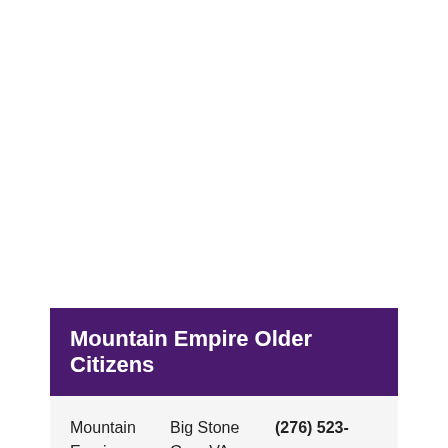Mountain Empire Older Citizens
Mountain Empire
Big Stone Gap, VA
(276) 523-